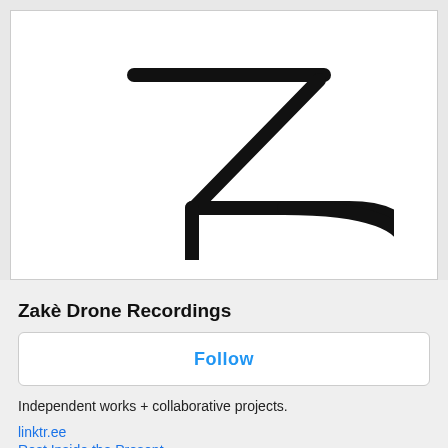[Figure (logo): Zakè Drone Recordings logo — stylized Z with a rounded D shape merged on the right side, rendered in black on white background]
Zakè Drone Recordings
Follow
Independent works + collaborative projects.
linktr.ee
Rest Inside the Present